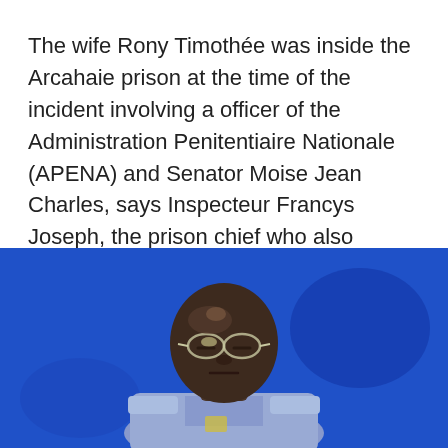The wife Rony Timothée was inside the Arcahaie prison at the time of the incident involving a officer of the Administration Penitentiaire Nationale (APENA) and Senator Moise Jean Charles, says Inspecteur Francys Joseph, the prison chief who also denies claims that the senator was ruffed up...
[Figure (photo): A man in a light blue uniform (prison official) with glasses, photographed against a bright blue textured wall. This appears to be Inspecteur Francys Joseph, the prison chief.]